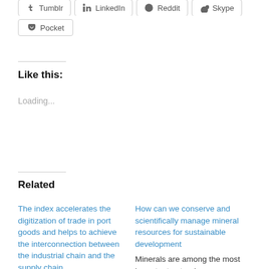[Figure (other): Social sharing buttons row: Tumblr, LinkedIn, Reddit, Skype (partially visible at top)]
[Figure (other): Pocket sharing button]
Like this:
Loading...
Related
The index accelerates the digitization of trade in port goods and helps to achieve the interconnection between the industrial chain and the supply chain
Qingdao, ChinaAnd the August 18 2022 /PRNewswire/ - At the
How can we conserve and scientifically manage mineral resources for sustainable development
Minerals are among the most important natural resources. They are mined and used to meet our